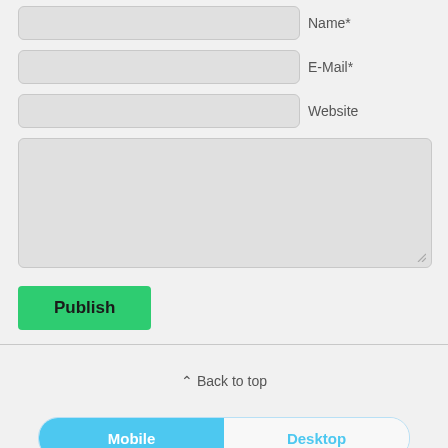Name*
E-Mail*
Website
[Figure (screenshot): A large text area input field (comment/message box)]
Publish
Back to top
Mobile
Desktop